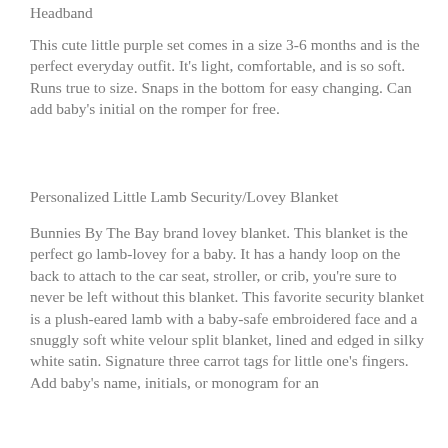Headband
This cute little purple set comes in a size 3-6 months and is the perfect everyday outfit. It's light, comfortable, and is so soft. Runs true to size. Snaps in the bottom for easy changing. Can add baby's initial on the romper for free.
Personalized Little Lamb Security/Lovey Blanket
Bunnies By The Bay brand lovey blanket. This blanket is the perfect go lamb-lovey for a baby. It has a handy loop on the back to attach to the car seat, stroller, or crib, you're sure to never be left without this blanket. This favorite security blanket is a plush-eared lamb with a baby-safe embroidered face and a snuggly soft white velour split blanket, lined and edged in silky white satin. Signature three carrot tags for little one's fingers. Add baby's name, initials, or monogram for an